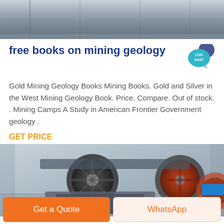[Figure (photo): Industrial facility interior, top cropped image showing factory floor with metallic surfaces]
free books on mining geology
[Figure (illustration): Live Chat speech bubble icon in teal/blue color with text LIVE CHAT]
Gold Mining Geology Books Mining Books. Gold and Silver in the West Mining Geology Book. Price. Compare. Out of stock. . Mining Camps A Study in American Frontier Government geology .
GET PRICE
[Figure (photo): Mining jaw crusher machine in industrial factory setting, two large flywheels visible]
Get a Quote
WhatsApp